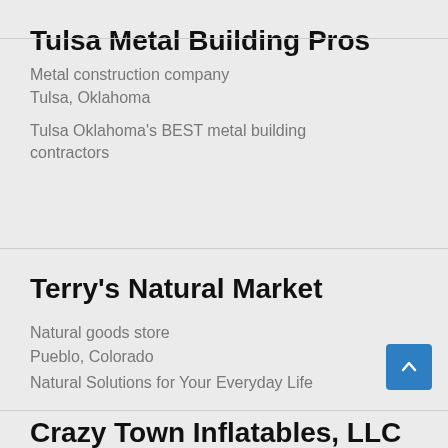Tulsa Metal Building Pros
Metal construction company
Tulsa, Oklahoma
Tulsa Oklahoma's BEST metal building contractors
Terry's Natural Market
Natural goods store
Pueblo, Colorado
Natural Solutions for Your Everyday Life
Crazy Town Inflatables, LLC